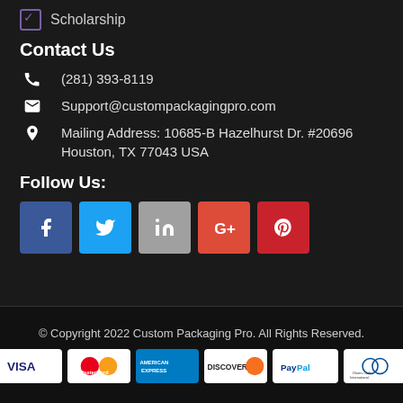Scholarship
Contact Us
(281) 393-8119
Support@custompackagingpro.com
Mailing Address: 10685-B Hazelhurst Dr. #20696 Houston, TX 77043 USA
Follow Us:
[Figure (infographic): Social media icon buttons: Facebook, Twitter, LinkedIn, Google+, Pinterest]
© Copyright 2022 Custom Packaging Pro. All Rights Reserved.
[Figure (infographic): Payment method logos: VISA, MasterCard, American Express, Discover, PayPal, Diners Club International]